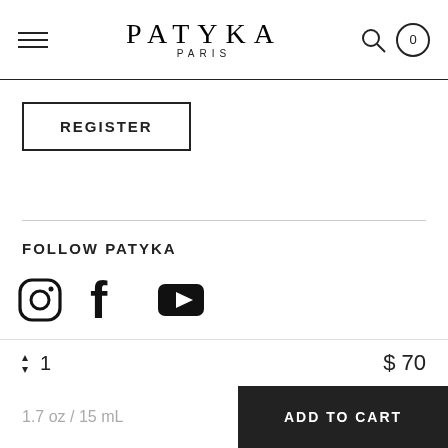PATYKA PARIS
REGISTER
FOLLOW PATYKA
[Figure (illustration): Social media icons: Instagram, Facebook, YouTube]
PATYKA is a Parisian organic cosmetics company whose origins date back to the 1920s. PATYKA offers you a selection of face creams, anti-ageing creams and body creams ultra-concentrated cares in active ingredients with proven effectiveness. Certified organic***, cruelty-free
1  $70
1.7 oz / 15 mL
ADD TO CART